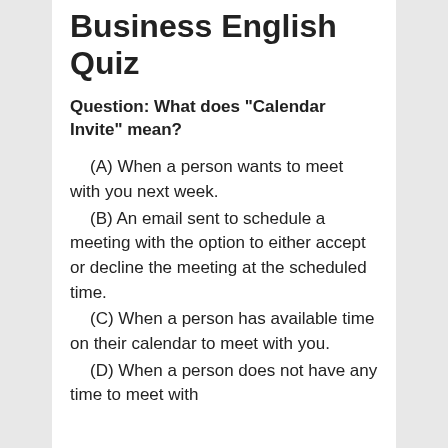Business English Quiz
Question: What does "Calendar Invite" mean?
(A) When a person wants to meet with you next week.
(B) An email sent to schedule a meeting with the option to either accept or decline the meeting at the scheduled time.
(C) When a person has available time on their calendar to meet with you.
(D) When a person does not have any time to meet with